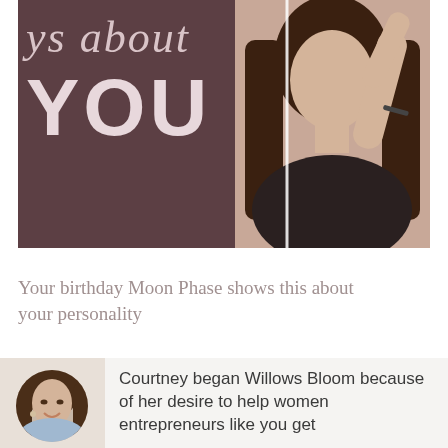[Figure (illustration): Dark mauve/brown background with large italic text 'ys about' and large bold 'YOU' with a question mark graphic, alongside a photo of a woman with long dark hair posing with arms raised.]
Your birthday Moon Phase shows this about your personality
[Figure (photo): Circular-cropped photo of a smiling woman with dark hair wearing a light blue denim jacket.]
Courtney began Willows Bloom because of her desire to help women entrepreneurs like you get